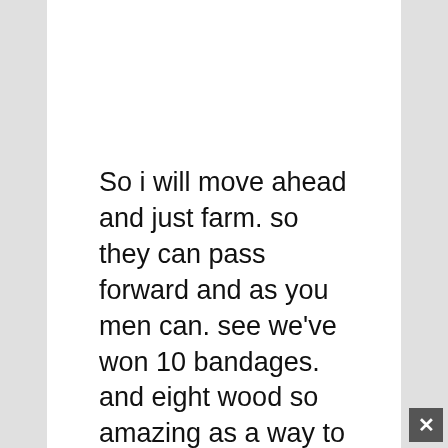So i will move ahead and just farm. so they can pass forward and as you men can. see we've won 10 bandages. and eight wood so amazing as a way to move. ahead and farm lower back. and back with all sorts of
We use cookies on our website to give you the most relevant experience by remembering your preferences and repeat visits. By clicking “Accept”, you consent to the use of all cookies.
Accept
goods. so i will move ahead and head back. to the most menu. and over right here we
will now fight bosses so. let’s just move ahead and try to try this. i will react with the